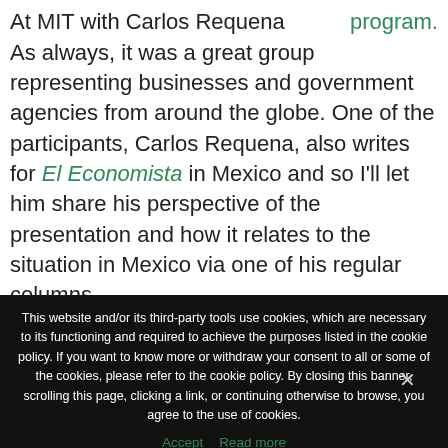At MIT with Carlos Requena
program. As always, it was a great group representing businesses and government agencies from around the globe. One of the participants, Carlos Requena, also writes for El Economista in Mexico and so I'll let him share his perspective of the presentation and how it relates to the situation in Mexico via one of his regular columns
This website and/or its third-party tools use cookies, which are necessary to its functioning and required to achieve the purposes listed in the cookie policy. If you want to know more or withdraw your consent to all or some of the cookies, please refer to the cookie policy. By closing this banner, scrolling this page, clicking a link, or continuing otherwise to browse, you agree to the use of cookies.
Accept  Read more